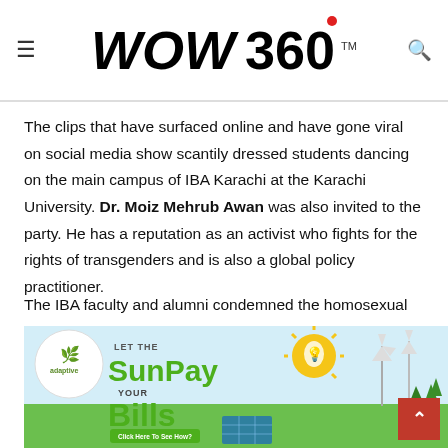WOW 360
The clips that have surfaced online and have gone viral on social media show scantily dressed students dancing on the main campus of IBA Karachi at the Karachi University. Dr. Moiz Mehrub Awan was also invited to the party. He has a reputation as an activist who fights for the rights of transgenders and is also a global policy practitioner.
The IBA faculty and alumni condemned the homosexual event that took place on campus. It angered faculty and students who consider it indecent and against social norms.
[Figure (infographic): Adaptive solar energy advertisement: LET THE Sun Pay YOUR Bills - Click Here To See How?]